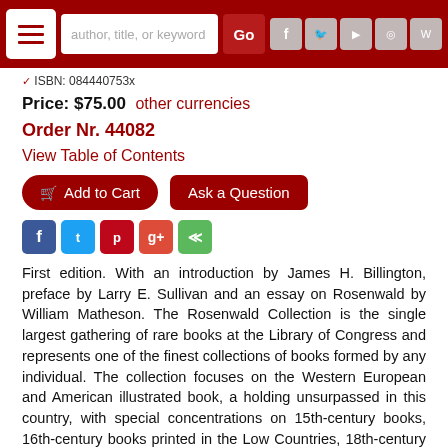author, title, or keyword [search bar] Go [social icons]
ISBN: 084440753x
Price: $75.00  other currencies
Order Nr. 44082
View Table of Contents
Add to Cart   Ask a Question
First edition. With an introduction by James H. Billington, preface by Larry E. Sullivan and an essay on Rosenwald by William Matheson. The Rosenwald Collection is the single largest gathering of rare books at the Library of Congress and represents one of the finest collections of books formed by any individual. The collection focuses on the Western European and American illustrated book, a holding unsurpassed in this country, with special concentrations on 15th-century books, 16th-century books printed in the Low Countries, 18th-century French books, William Blake and 20th-century livres d'artiste. Since the time of its donation, this collection has grown to 2,600 separate editions along with several thousand reference works and is used by hundreds of scholars from all